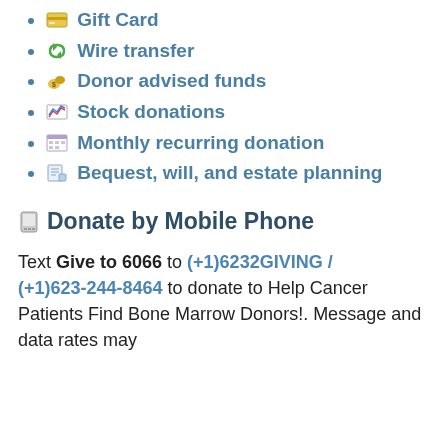Gift Card
Wire transfer
Donor advised funds
Stock donations
Monthly recurring donation
Bequest, will, and estate planning
Donate by Mobile Phone
Text Give to 6066 to (+1)6232GIVING / (+1)623-244-8464 to donate to Help Cancer Patients Find Bone Marrow Donors!. Message and data rates may